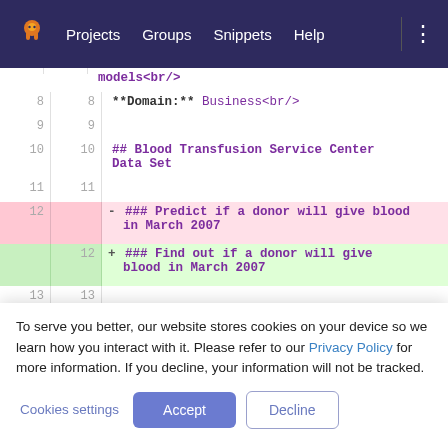Projects  Groups  Snippets  Help
[Figure (screenshot): GitLab code diff view showing markdown file lines 8-15. Lines 8-11 and 13-15 are unchanged, showing code for domain and Blood Transfusion Service Center Data Set heading. Line 12 shows a removed line (red): '### Predict if a donor will give blood in March 2007' and an added line (green): '### Find out if a donor will give blood in March 2007'. A Feedback tab is visible on the right side.]
To serve you better, our website stores cookies on your device so we learn how you interact with it. Please refer to our Privacy Policy for more information. If you decline, your information will not be tracked.
Cookies settings
Accept
Decline